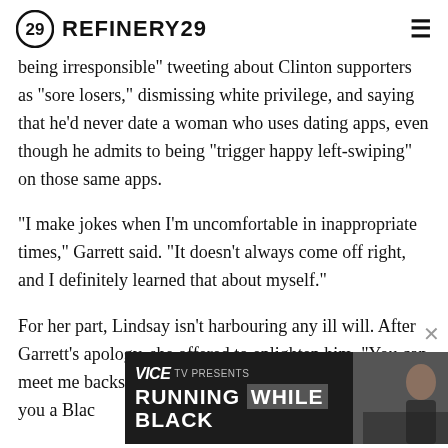REFINERY29
being irresponsible" tweeting about Clinton supporters as "sore losers," dismissing white privilege, and saying that he'd never date a woman who uses dating apps, even though he admits to being "trigger happy left-swiping" on those same apps.
"I make jokes when I'm uncomfortable in inappropriate times," Garrett said. "It doesn't always come off right, and I definitely learned that about myself."
For her part, Lindsay isn't harbouring any ill will. After Garrett's apology, she offered to enlighten him. "You can meet me backstage and I'd be more than happy to give you a Blac[k]..." she said.
[Figure (screenshot): VICE TV PRESENTS RUNNING WHILE BLACK advertisement banner with photo of a person]